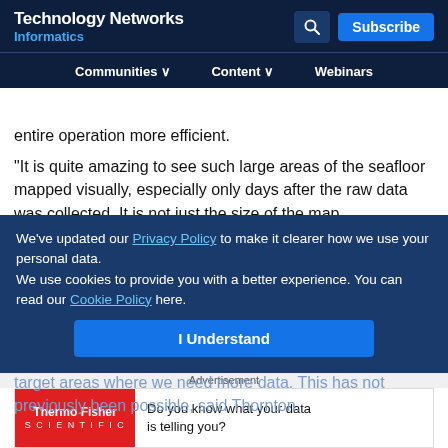Technology Networks Informatics
entire operation more efficient.
“It is quite amazing to see such large areas of the seafloor mapped visually, especially only days after the raw data was collected. It is not just the size of the map,
We’ve updated our Privacy Policy to make it clearer how we use your personal data. We use cookies to provide you with a better experience. You can read our Cookie Policy here.
areas at very high resolution, and also easily identify and target areas where we need more data. This has not previously been possible, said Thornton.
Advertisement
[Figure (logo): ThermoFisher Scientific advertisement banner]
Do you know what your data is telling you?